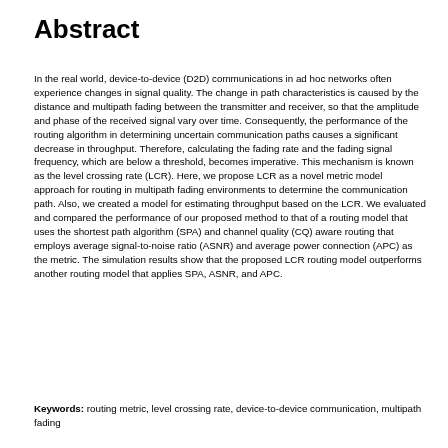Abstract
In the real world, device-to-device (D2D) communications in ad hoc networks often experience changes in signal quality. The change in path characteristics is caused by the distance and multipath fading between the transmitter and receiver, so that the amplitude and phase of the received signal vary over time. Consequently, the performance of the routing algorithm in determining uncertain communication paths causes a significant decrease in throughput. Therefore, calculating the fading rate and the fading signal frequency, which are below a threshold, becomes imperative. This mechanism is known as the level crossing rate (LCR). Here, we propose LCR as a novel metric model approach for routing in multipath fading environments to determine the communication path. Also, we created a model for estimating throughput based on the LCR. We evaluated and compared the performance of our proposed method to that of a routing model that uses the shortest path algorithm (SPA) and channel quality (CQ) aware routing that employs average signal-to-noise ratio (ASNR) and average power connection (APC) as the metric. The simulation results show that the proposed LCR routing model outperforms another routing model that applies SPA, ASNR, and APC.
Keywords: routing metric, level crossing rate, device-to-device communication, multipath fading